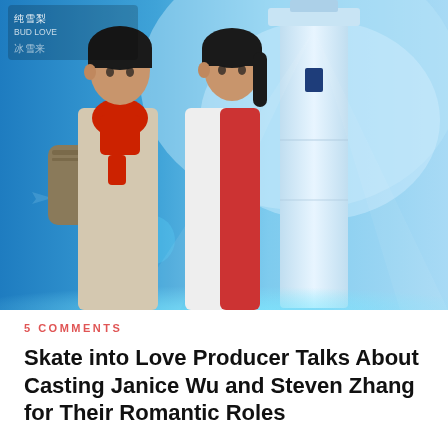[Figure (photo): Promotional image for Chinese drama 'Skate into Love' (冰雪来/纯雪梨) showing a young man and woman facing each other closely, with a glowing lighthouse behind them. The man wears a red scarf and backpack, the woman wears a red and white top. Chinese title text visible top-left. Blue icy/winter atmospheric background.]
5 COMMENTS
Skate into Love Producer Talks About Casting Janice Wu and Steven Zhang for Their Romantic Roles